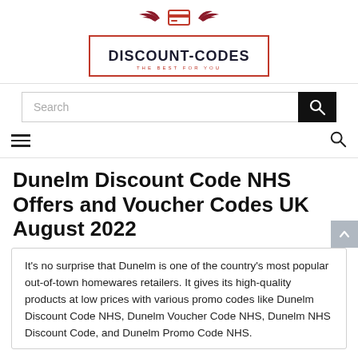[Figure (logo): Discount-Codes logo with red wings/credit card icon above, red border box, bold text DISCOUNT-CODES, subtitle THE BEST FOR YOU]
[Figure (screenshot): Search bar with placeholder text 'Search' and black search button with magnifying glass icon]
[Figure (screenshot): Navigation bar with hamburger menu icon on left and search magnifying glass icon on right]
Dunelm Discount Code NHS Offers and Voucher Codes UK August 2022
It's no surprise that Dunelm is one of the country's most popular out-of-town homewares retailers. It gives its high-quality products at low prices with various promo codes like Dunelm Discount Code NHS, Dunelm Voucher Code NHS, Dunelm NHS Discount Code, and Dunelm Promo Code NHS.